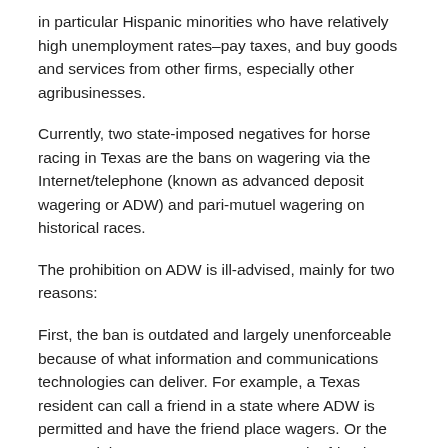in particular Hispanic minorities who have relatively high unemployment rates–pay taxes, and buy goods and services from other firms, especially other agribusinesses.
Currently, two state-imposed negatives for horse racing in Texas are the bans on wagering via the Internet/telephone (known as advanced deposit wagering or ADW) and pari-mutuel wagering on historical races.
The prohibition on ADW is ill-advised, mainly for two reasons:
First, the ban is outdated and largely unenforceable because of what information and communications technologies can deliver.  For example, a Texas resident can call a friend in a state where ADW is permitted and have the friend place wagers.  Or the Texan might open an ADW account at the friend's address.  The Texas resident can also find an offshore sports book ready to take his or her putatively illegal wager with no risk of being prosecuted.
The Texas bar on ADW has the unintended consequence of encouraging Texans to find ways around it and this costs Texas horse owners and breeders money for purses and the state of Texas misses